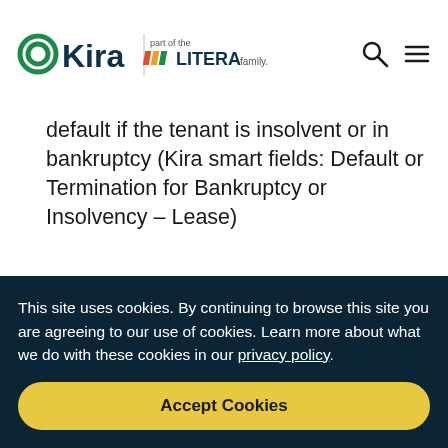OKira part of the LITERA family.
default if the tenant is insolvent or in bankruptcy (Kira smart fields: Default or Termination for Bankruptcy or Insolvency – Lease)
Whether the tenant's lender has a
This site uses cookies. By continuing to browse this site you are agreeing to our use of cookies. Learn more about what we do with these cookies in our privacy policy.
Accept Cookies